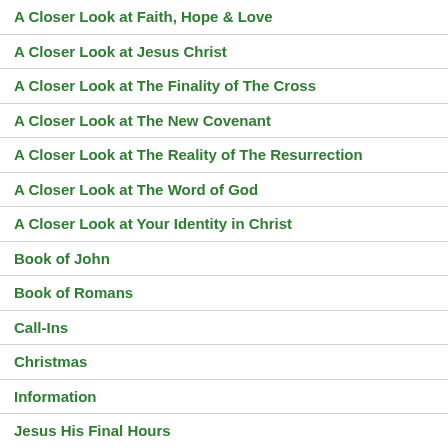A Closer Look at Faith, Hope & Love
A Closer Look at Jesus Christ
A Closer Look at The Finality of The Cross
A Closer Look at The New Covenant
A Closer Look at The Reality of The Resurrection
A Closer Look at The Word of God
A Closer Look at Your Identity in Christ
Book of John
Book of Romans
Call-Ins
Christmas
Information
Jesus His Final Hours